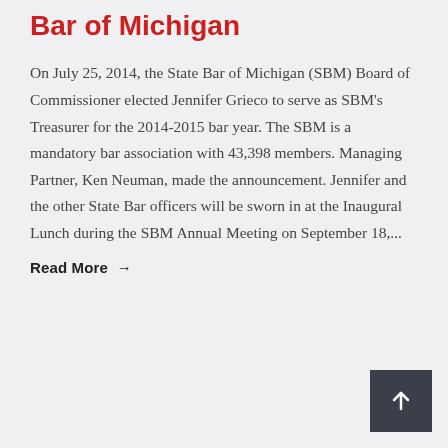Bar of Michigan
On July 25, 2014, the State Bar of Michigan (SBM) Board of Commissioner elected Jennifer Grieco to serve as SBM's Treasurer for the 2014-2015 bar year. The SBM is a mandatory bar association with 43,398 members. Managing Partner, Ken Neuman, made the announcement. Jennifer and the other State Bar officers will be sworn in at the Inaugural Lunch during the SBM Annual Meeting on September 18,...
Read More →